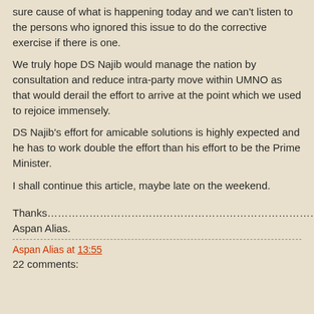sure cause of what is happening today and we can't listen to the persons who ignored this issue to do the corrective exercise if there is one.
We truly hope DS Najib would manage the nation by consultation and reduce intra-party move within UMNO as that would derail the effort to arrive at the point which we used to rejoice immensely.
DS Najib's effort for amicable solutions is highly expected and he has to work double the effort than his effort to be the Prime Minister.
I shall continue this article, maybe late on the weekend.
Thanks………………………………………………………………………………
Aspan Alias.
Aspan Alias at 13:55
22 comments: